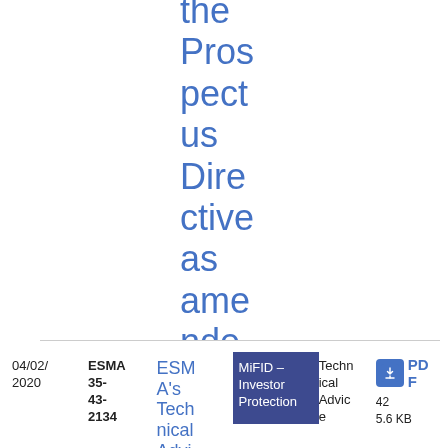the Prospectus Directive as amended by the Directive 2010/73/EU
| Date | Reference | Title | Tag | Type | File |
| --- | --- | --- | --- | --- | --- |
| 04/02/2020 | ESMA 35-43-2134 | ESMA's Technical Advi... | MiFID - Investor Protection | Technical Advice | PDF 42 5.6 KB |